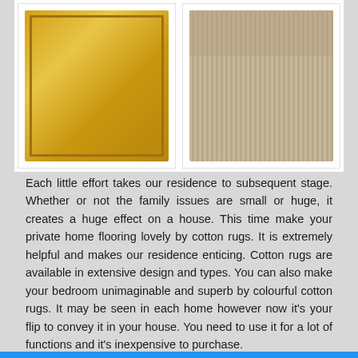[Figure (photo): Left image: yellow/gold cotton rug on a floor]
[Figure (photo): Right image: beige/natural striped rug in a room setting with furniture]
Each little effort takes our residence to subsequent stage. Whether or not the family issues are small or huge, it creates a huge effect on a house. This time make your private home flooring lovely by cotton rugs. It is extremely helpful and makes our residence enticing. Cotton rugs are available in extensive design and types. You can also make your bedroom unimaginable and superb by colourful cotton rugs. It may be seen in each home however now it's your flip to convey it in your house. You need to use it for a lot of functions and it's inexpensive to purchase.
You may give an opulent contact to your bathroom with cotton rugs. It absorbs the water shortly and retains you stop from a slip throughout a shower. Fashionable and colourful cotton rug is the proper one for corridor room. You possibly can place it